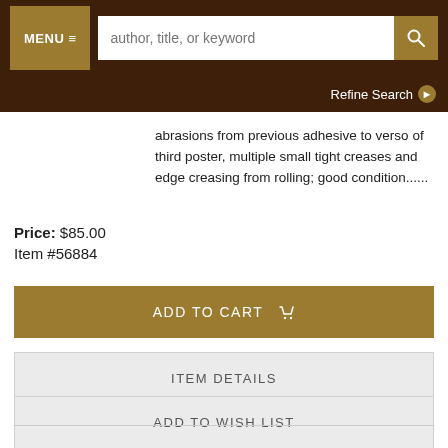MENU | author, title, or keyword | Refine Search
abrasions from previous adhesive to verso of third poster, multiple small tight creases and edge creasing from rolling; good condition......
Price: $85.00
Item #56884
ADD TO CART
ITEM DETAILS
ADD TO WISH LIST